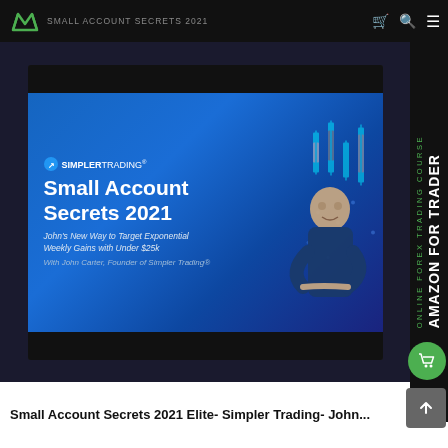SMALL ACCOUNT SECRETS 2021
[Figure (screenshot): Simpler Trading product banner for Small Account Secrets 2021, showing John Carter, Founder of Simpler Trading. Blue gradient background with candlestick chart graphics. Text: SIMPLERTRADING - Small Account Secrets 2021 - John's New Way to Target Exponential Weekly Gains with Under $25k - With John Carter, Founder of Simpler Trading®]
Small Account Secrets 2021 Elite- Simpler Trading- John...